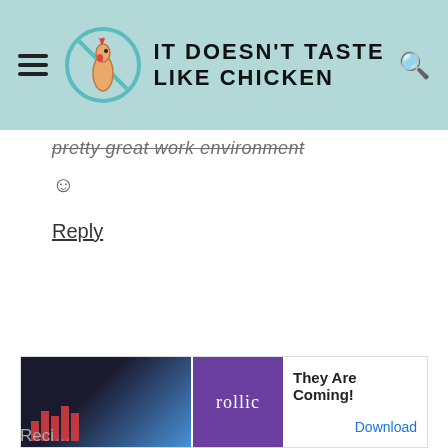IT DOESN'T TASTE LIKE CHICKEN
pretty great work environment ☺
Reply
leave a reply
Your email address will not be published.
Required fields are marked *
[Figure (screenshot): Ad banner: 'They Are Coming!' game ad with rollic branding and Download button]